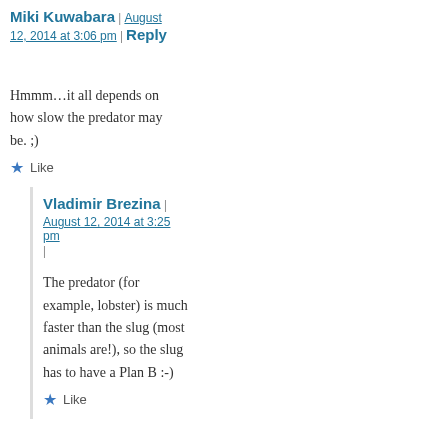Miki Kuwabara | August 12, 2014 at 3:06 pm | Reply
Hmmm…it all depends on how slow the predator may be. ;)
Like
Vladimir Brezina | August 12, 2014 at 3:25 pm |
The predator (for example, lobster) is much faster than the slug (most animals are!), so the slug has to have a Plan B :-)
Like
Paddling.net
Sebago Canoe Club
Stevens Institute of Technology Maritime Center
Superior Paddling
Sweetwater Kayaks
The Folding Kayak Pages
TheSafeHarbor.us
Tide and Current Predictions, U.S. Upper East Coast
Topkayaker.net
Tsunami Rangers
WaterTribe
WaterWire
Weather Underground
Weather, New York